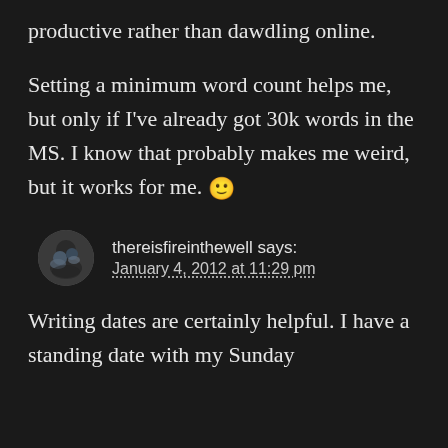productive rather than dawdling online.
Setting a minimum word count helps me, but only if I've already got 30k words in the MS. I know that probably makes me weird, but it works for me. 🙂
thereisfireinthewell says:
January 4, 2012 at 11:29 pm
Writing dates are certainly helpful. I have a standing date with my Sunday